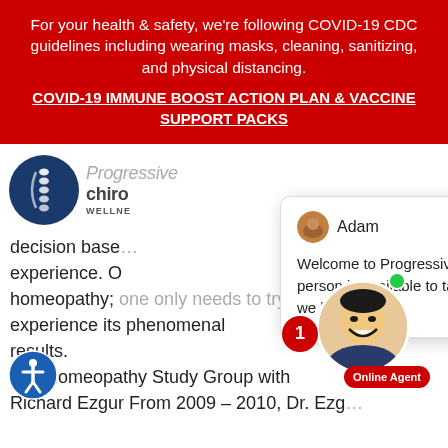For your health & safety, we're following COVID-19 CDC guidelines including wearing masks, cleaning, sanitizing, and physical distancing.
COVID-19 IMMUNE BOOST ACTION PLAN & VACCINE SUPPORT PACKS
[Figure (logo): Progressive Chiropractic Wellness Center logo — blue circle with spine/dots icon, text 'Progressive chiro WELLNESS']
decision base... experience. O... homeopathy; one only needs to try into experience its phenomenal results.
[Figure (screenshot): Chat popup with agent named Adam: 'Welcome to Progressive Chiropractic! A live, real person is available to talk at no obligation. How can we help you?']
ago Homeopathy Study Group with Richard Ezgur From 2009 – 2010, Dr. Ezg... offered this class to the public, at our office in
[Figure (photo): Photo of smiling Asian man (online agent) with green online indicator dot, red badge labeled '1', and 'Online Agent' red badge below]